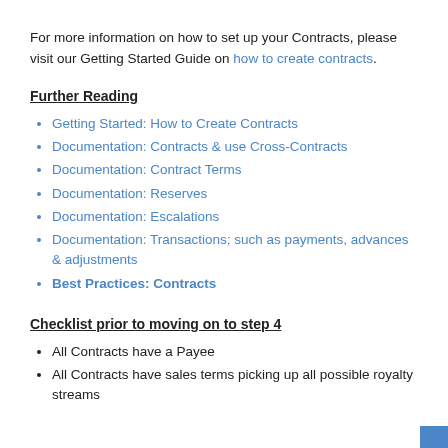For more information on how to set up your Contracts, please visit our Getting Started Guide on how to create contracts.
Further Reading
Getting Started: How to Create Contracts
Documentation: Contracts & use Cross-Contracts
Documentation: Contract Terms
Documentation: Reserves
Documentation: Escalations
Documentation: Transactions; such as payments, advances & adjustments
Best Practices: Contracts
Checklist prior to moving on to step 4
All Contracts have a Payee
All Contracts have sales terms picking up all possible royalty streams